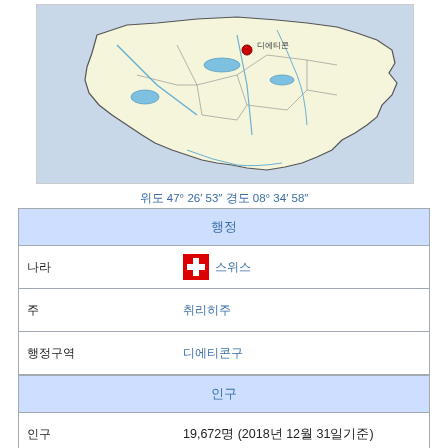[Figure (map): Map of Switzerland with a red dot marking a location in the northern part of the country, near Zurich area]
위도 47° 26′ 53″ 경도 08° 34′ 58″
| 속성 | 값 |
| --- | --- |
| 나라 | 스위스 |
| 주 | 취리히주 |
| 행정구역 | 디에티콘구 |
| 인구 | 19,672명 (2018년 12월 31일기준) |